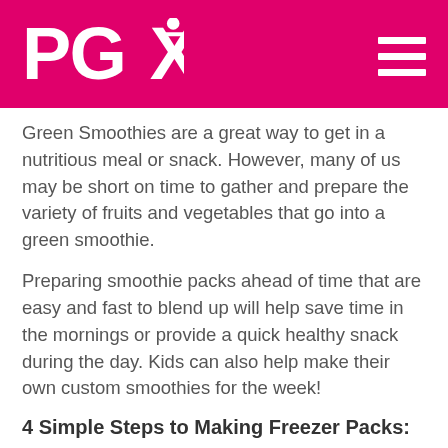PGX logo and navigation
Green Smoothies are a great way to get in a nutritious meal or snack. However, many of us may be short on time to gather and prepare the variety of fruits and vegetables that go into a green smoothie.
Preparing smoothie packs ahead of time that are easy and fast to blend up will help save time in the mornings or provide a quick healthy snack during the day. Kids can also help make their own custom smoothies for the week!
4 Simple Steps to Making Freezer Packs: